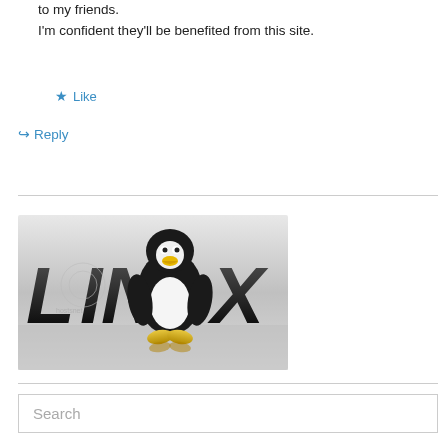to my friends.
I'm confident they'll be benefited from this site.
★ Like
↪ Reply
[Figure (logo): Linux logo with Tux penguin mascot in center of the word LINUX on a gray metallic background]
Search